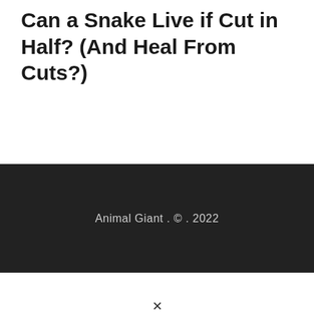Can a Snake Live if Cut in Half? (And Heal From Cuts?)
Animal Giant . © . 2022